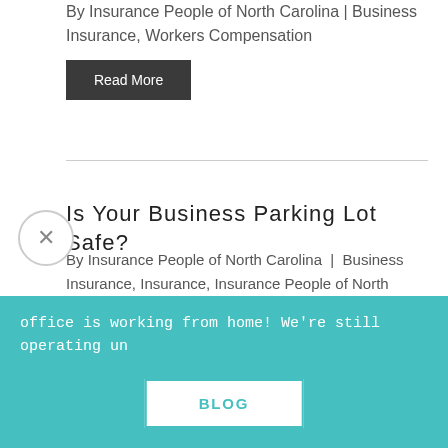By Insurance People of North Carolina | Business Insurance, Workers Compensation
Read More
Is Your Business Parking Lot Safe?
By Insurance People of North Carolina | Business Insurance, Insurance, Insurance People of North Carolina
According to the National Safety Council (NSC),
office is working from home! We're still operating un
BLOG